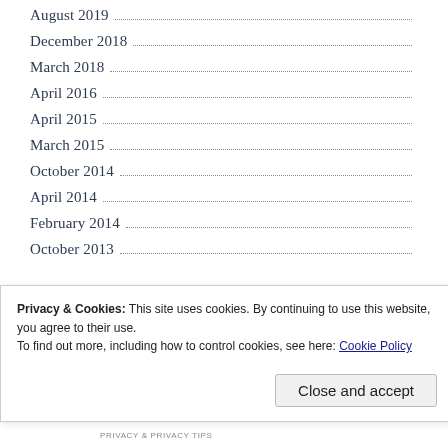August 2019
December 2018
March 2018
April 2016
April 2015
March 2015
October 2014
April 2014
February 2014
October 2013
Privacy & Cookies: This site uses cookies. By continuing to use this website, you agree to their use. To find out more, including how to control cookies, see here: Cookie Policy